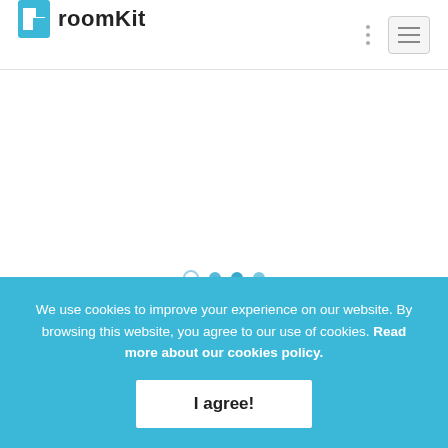roomKit
[Figure (screenshot): Loading spinner with four dots (one outline, three filled in shades of blue) and 'Loading...' text below]
We use cookies to improve your experience on our website. By browsing this website, you agree to our use of cookies. Read more about our cookies policy.
I agree!